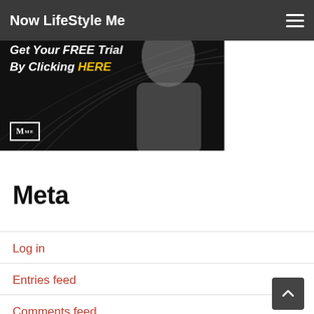Now LifeStyle Me
[Figure (photo): Promotional banner with dark background, a man in grey sweater pointing fingers, text reading 'Get Your FREE Trial By Clicking HERE' with 'HERE' in yellow, and MME logo in bottom left corner]
Meta
Log in
Entries feed
Comments feed